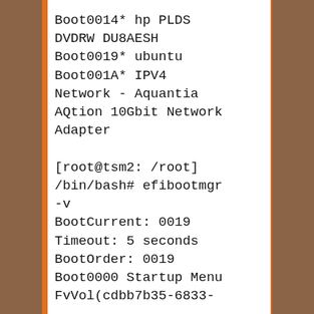Boot0014* hp PLDS DVDRW DU8AESH
Boot0019* ubuntu
Boot001A* IPV4 Network - Aquantia AQtion 10Gbit Network Adapter

[root@tsm2: /root]/bin/bash# efibootmgr -v
BootCurrent: 0019
Timeout: 5 seconds
BootOrder: 0019
Boot0000 Startup Menu
FvVol(cdbb7b35-6833-